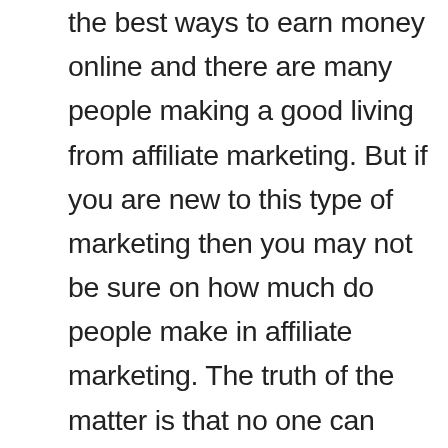the best ways to earn money online and there are many people making a good living from affiliate marketing. But if you are new to this type of marketing then you may not be sure on how much do people make in affiliate marketing. The truth of the matter is that no one can accurately predict how much affiliate marketers will earn because it is totally dependent on how hard they work and how much effort they put into their businesses. But as long as you keep your affiliate marketing business then you will definitely earn through affiliate marketing.